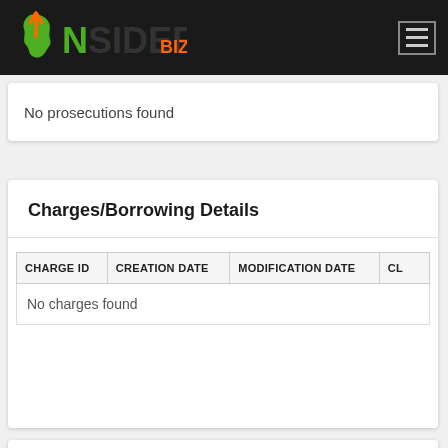NSIDER BIZ
No prosecutions found
Charges/Borrowing Details
| CHARGE ID | CREATION DATE | MODIFICATION DATE | CL... |
| --- | --- | --- | --- |
| No charges found |  |  |  |
Establishments Details